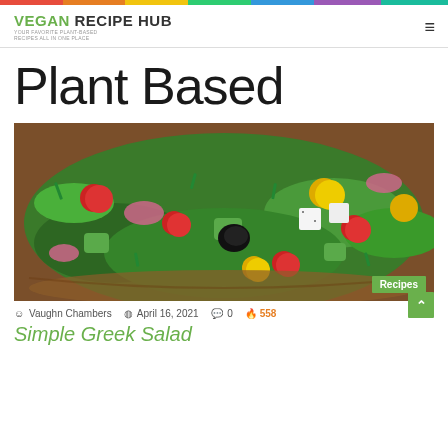VEGAN RECIPE HUB — YOUR FAVORITE PLANT-BASED RECIPES ALL IN ONE PLACE
Plant Based
[Figure (photo): Close-up photo of a colorful Greek salad in a wooden bowl with cherry tomatoes (red and yellow), cucumber, red onion, black olives, white feta cheese cubes, and fresh herbs. A green 'Recipes' badge appears in the bottom right corner.]
Vaughn Chambers   April 16, 2021   0   558
Simple Greek Salad